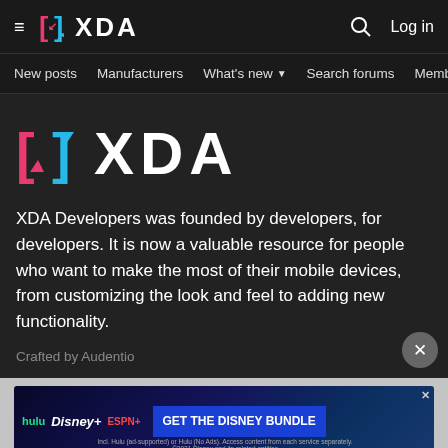≡  [XDA logo]  XDA   🔍  Log in
New posts   Manufacturers   What's new ▼   Search forums   Membe  >
[Figure (logo): XDA Developers logo - large version with pink and blue bracket icon and white XDA text]
XDA Developers was founded by developers, for developers. It is now a valuable resource for people who want to make the most of their mobile devices, from customizing the look and feel to adding new functionality.
Crafted by Audentio
[Figure (infographic): Disney Bundle advertisement showing Hulu, Disney+, ESPN+ logos with 'GET THE DISNEY BUNDLE' call-to-action button. Fine print: Incl. Hulu (ad-supported) or Hulu (No Ads). Access content from each service separately. ©2021 Disney and its related entities]
MORE
Contact us   Best Phones